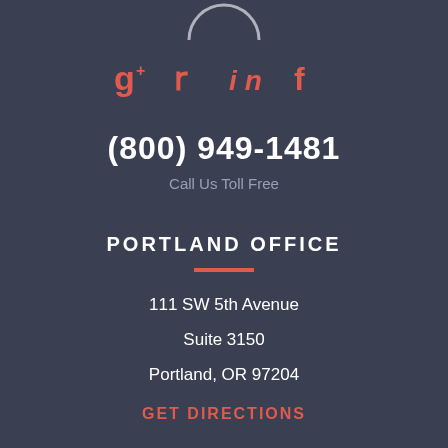[Figure (logo): Partial circular logo at top of page]
[Figure (infographic): Social media icons: Google+, Twitter, LinkedIn, Facebook in coral/red color]
(800) 949-1481
Call Us Toll Free
PORTLAND OFFICE
111 SW 5th Avenue
Suite 3150
Portland, OR 97204
GET DIRECTIONS